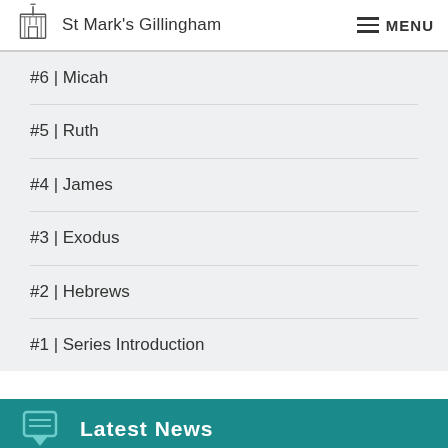St Mark's Gillingham  MENU
#6 | Micah
#5 | Ruth
#4 | James
#3 | Exodus
#2 | Hebrews
#1 | Series Introduction
Latest News
Upcoming Events